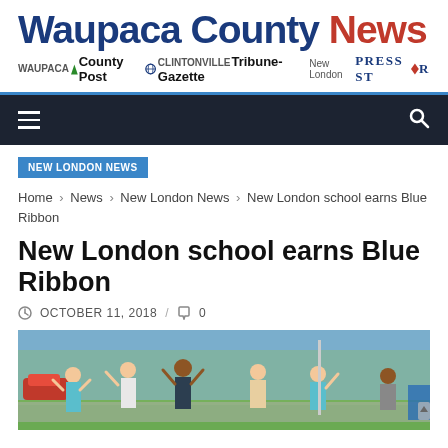[Figure (logo): Waupaca County News logo with sub-titles County Post, Tribune-Gazette, Press Star]
[Figure (screenshot): Dark navigation bar with hamburger menu icon on left and search icon on right]
NEW LONDON NEWS
Home › News › New London News › New London school earns Blue Ribbon
New London school earns Blue Ribbon
OCTOBER 11, 2018  /  0
[Figure (photo): Children with hands raised outdoors near a school, trees and cars in background]